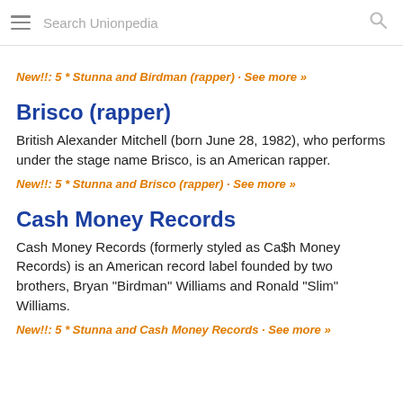Search Unionpedia
New!!: 5 * Stunna and Birdman (rapper) · See more »
Brisco (rapper)
British Alexander Mitchell (born June 28, 1982), who performs under the stage name Brisco, is an American rapper.
New!!: 5 * Stunna and Brisco (rapper) · See more »
Cash Money Records
Cash Money Records (formerly styled as Ca$h Money Records) is an American record label founded by two brothers, Bryan "Birdman" Williams and Ronald "Slim" Williams.
New!!: 5 * Stunna and Cash Money Records · See more »